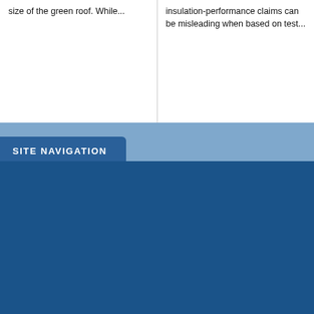size of the green roof. While...
insulation-performance claims can be misleading when based on test...
SITE NAVIGATION
Why Hydrotech?
Assemblies
► Waterproofing
► Roofing
► Plaza Deck Assembly
► Garden Roof Assembly
► Other Products
Applications
About Hydrotech
► Company Profile
► International
► Continuing Education
► Awards
► Careers
Benefits
Sustainability
Stormwater